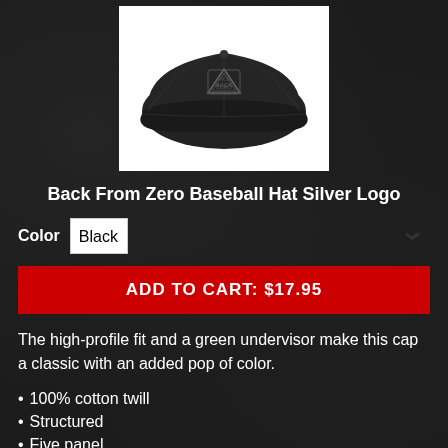[Figure (photo): Black baseball cap with 'Back From Zero' silver logo on the front, displayed on white background]
Back From Zero Baseball Hat Silver Logo
Color  Black
ADD TO CART: $17.95
The high-profile fit and a green undervisor make this cap a classic with an added pop of color.
100% cotton twill
Structured
Five panel
High profile